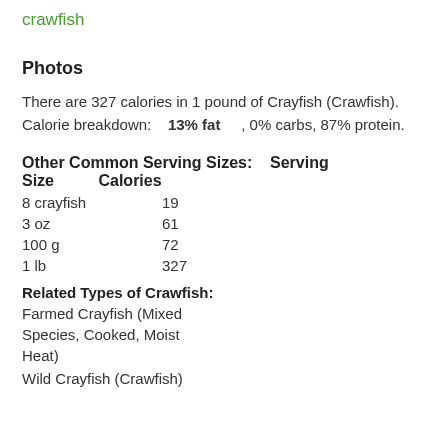crawfish
Photos
There are 327 calories in 1 pound of Crayfish (Crawfish).
Calorie breakdown: 13% fat , 0% carbs, 87% protein.
Other Common Serving Sizes:    Serving Size        Calories
| Serving Size | Calories |
| --- | --- |
| 8 crayfish | 19 |
| 3 oz | 61 |
| 100 g | 72 |
| 1 lb | 327 |
Related Types of Crawfish:
Farmed Crayfish (Mixed Species, Cooked, Moist Heat)
Wild Crayfish (Crawfish)